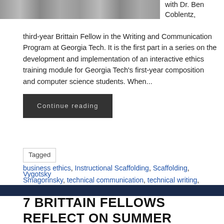[Figure (photo): Partial building/architecture photo at top left]
with Dr. Ben Coblentz, third-year Brittain Fellow in the Writing and Communication Program at Georgia Tech. It is the first part in a series on the development and implementation of an interactive ethics training module for Georgia Tech's first-year composition and computer science students. When...
Continue reading
Tagged business ethics, Instructional Scaffolding, Scaffolding, Smagorinsky, technical communication, technical writing, Vygotsky
7 BRITTAIN FELLOWS REFLECT ON SUMMER PEDAGOGICAL EXPERIMENTS IN FIRST-YEAR WRITING